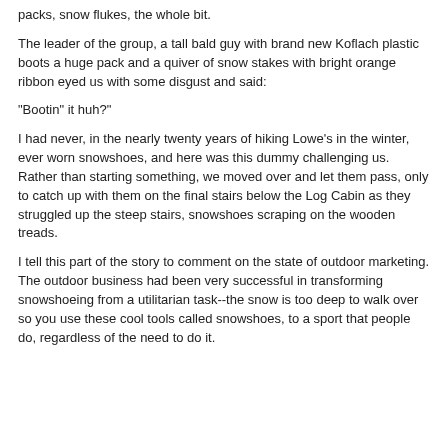packs, snow flukes, the whole bit.
The leader of the group, a tall bald guy with brand new Koflach plastic boots a huge pack and a quiver of snow stakes with bright orange ribbon eyed us with some disgust and said:
"Bootin" it huh?"
I had never, in the nearly twenty years of hiking Lowe's in the winter, ever worn snowshoes, and here was this dummy challenging us. Rather than starting something, we moved over and let them pass, only to catch up with them on the final stairs below the Log Cabin as they struggled up the steep stairs, snowshoes scraping on the wooden treads.
I tell this part of the story to comment on the state of outdoor marketing. The outdoor business had been very successful in transforming snowshoeing from a utilitarian task--the snow is too deep to walk over so you use these cool tools called snowshoes, to a sport that people do, regardless of the need to do it.